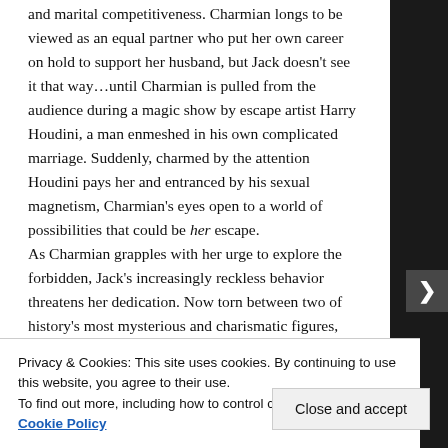and marital competitiveness. Charmian longs to be viewed as an equal partner who put her own career on hold to support her husband, but Jack doesn't see it that way…until Charmian is pulled from the audience during a magic show by escape artist Harry Houdini, a man enmeshed in his own complicated marriage. Suddenly, charmed by the attention Houdini pays her and entranced by his sexual magnetism, Charmian's eyes open to a world of possibilities that could be her escape.
As Charmian grapples with her urge to explore the forbidden, Jack's increasingly reckless behavior threatens her dedication. Now torn between two of history's most mysterious and charismatic figures, she
Privacy & Cookies: This site uses cookies. By continuing to use this website, you agree to their use.
To find out more, including how to control cookies, see here: Cookie Policy
Close and accept